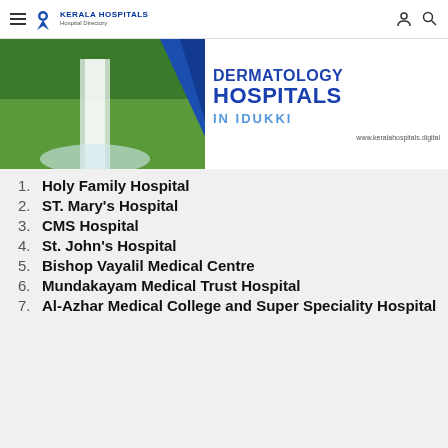KERALA HOSPITALS Hospital Directory
[Figure (infographic): Banner image showing Dermatology Hospitals in Idukki with a waterfall background and blue triangle design. Text reads 'DERMATOLOGY HOSPITALS IN IDUKKI'. URL: www.keralahospitals.digital]
1. Holy Family Hospital
2. ST. Mary's Hospital
3. CMS Hospital
4. St. John's Hospital
5. Bishop Vayalil Medical Centre
6. Mundakayam Medical Trust Hospital
7. Al-Azhar Medical College and Super Speciality Hospital